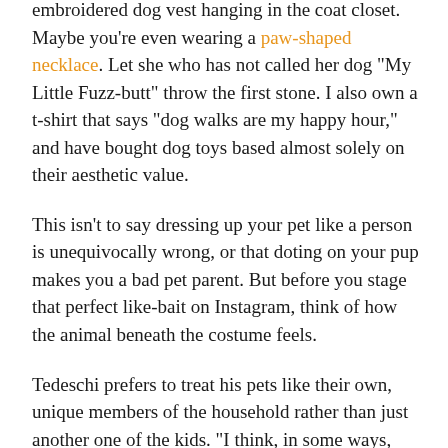embroidered dog vest hanging in the coat closet. Maybe you're even wearing a paw-shaped necklace. Let she who has not called her dog "My Little Fuzz-butt" throw the first stone. I also own a t-shirt that says "dog walks are my happy hour," and have bought dog toys based almost solely on their aesthetic value.
This isn't to say dressing up your pet like a person is unequivocally wrong, or that doting on your pup makes you a bad pet parent. But before you stage that perfect like-bait on Instagram, think of how the animal beneath the costume feels.
Tedeschi prefers to treat his pets like their own, unique members of the household rather than just another one of the kids. "I think, in some ways, many people could have a deeper relationship with their pets if they allow an animal to be themselves," he explains.